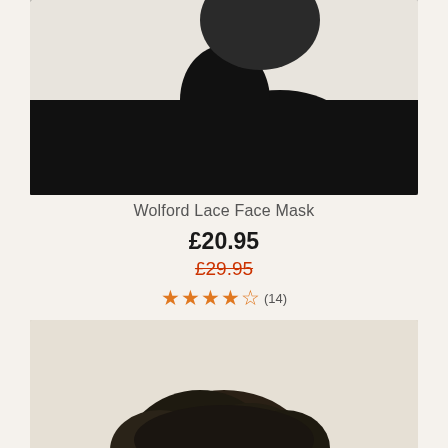[Figure (photo): Close-up product photo of a person wearing a black turtleneck top against a light background, cropped to show shoulder and neck area]
Wolford Lace Face Mask
£20.95
£29.95
★★★★½ (14)
[Figure (photo): Bottom portion of a second product photo showing dark hair of a model, partially cropped]